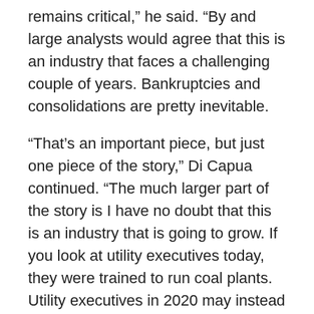remains critical,” he said. “By and large analysts would agree that this is an industry that faces a challenging couple of years. Bankruptcies and consolidations are pretty inevitable.
“That’s an important piece, but just one piece of the story,” Di Capua continued. “The much larger part of the story is I have no doubt that this is an industry that is going to grow. If you look at utility executives today, they were trained to run coal plants. Utility executives in 2020 may instead have come from the renewables world.”
In the long-term, renewable energy sources – solar, wind, bio- and synthetic fuels – are moving toward being competitive with conventional sources. “In many parts of the world, renewables are competitive